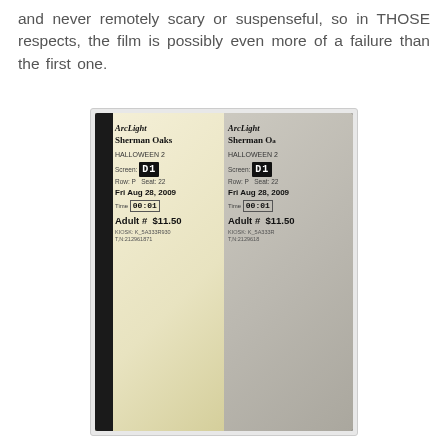and never remotely scary or suspenseful, so in THOSE respects, the film is possibly even more of a failure than the first one.
[Figure (photo): A photograph of two ArcLight Sherman Oaks movie tickets for HALLOWEEN 2, Screen D1, Row P Seat 22, Fri Aug 28, 2009, Time 00:01, Adult # $11.50, placed side by side]